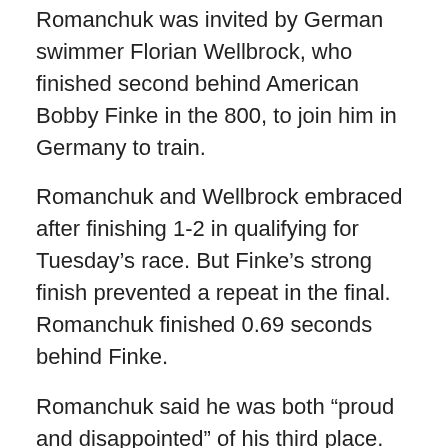Romanchuk was invited by German swimmer Florian Wellbrock, who finished second behind American Bobby Finke in the 800, to join him in Germany to train.
Romanchuk and Wellbrock embraced after finishing 1-2 in qualifying for Tuesday's race. But Finke's strong finish prevented a repeat in the final. Romanchuk finished 0.69 seconds behind Finke.
Romanchuk said he was both “proud and disappointed” of his third place. He said his medal proves “that Ukrainians will fight to the end, it doesn’t matter what the situation.”
Swimmers from Russia and its ally Belarus have